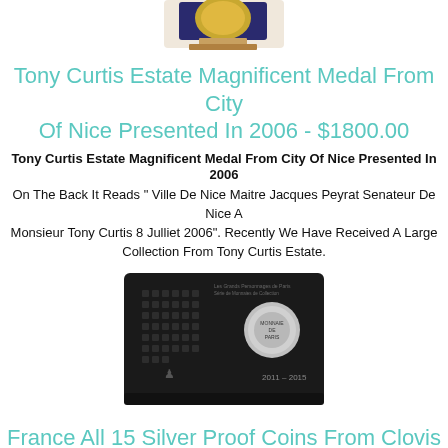[Figure (photo): Top portion of a medal/award item on a display stand, partially visible at top of page]
Tony Curtis Estate Magnificent Medal From City Of Nice Presented In 2006 - $1800.00
Tony Curtis Estate Magnificent Medal From City Of Nice Presented In 2006
On The Back It Reads " Ville De Nice Maitre Jacques Peyrat Senateur De Nice A Monsieur Tony Curtis 8 Julliet 2006". Recently We Have Received A Large Collection From Tony Curtis Estate.
[Figure (photo): A black rectangular display box/casket with coin arrays and a circular medallion, labeled 2011-2015, with Monnaie de Paris branding]
France All 15 Silver Proof Coins From Clovis To Republic Display Box Coas Casket - $1792.00